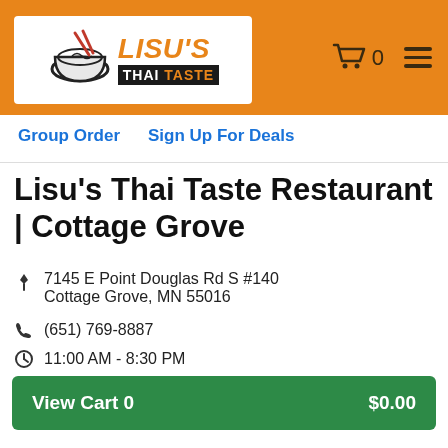[Figure (logo): Lisu's Thai Taste restaurant logo with bowl and chopsticks icon on white background]
Lisu's Thai Taste — Cart 0, Menu
Group Order   Sign Up For Deals
Lisu's Thai Taste Restaurant | Cottage Grove
7145 E Point Douglas Rd S #140 Cottage Grove, MN 55016
(651) 769-8887
11:00 AM - 8:30 PM
99% of 684 customers recommended
View Cart 0   $0.00